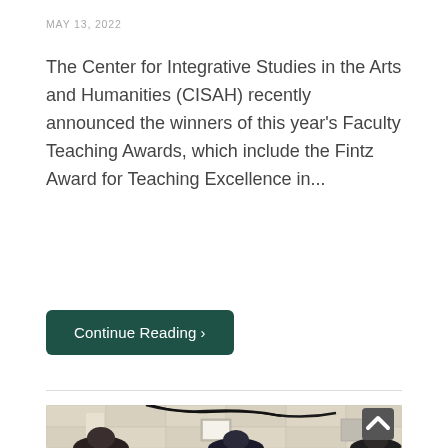MAY 13, 2022
The Center for Integrative Studies in the Arts and Humanities (CISAH) recently announced the winners of this year's Faculty Teaching Awards, which include the Fintz Award for Teaching Excellence in...
Continue Reading›
[Figure (photo): Group of people standing in a room with a drop ceiling, cables visible on the ceiling, framed certificates or displays on the wall in the background]